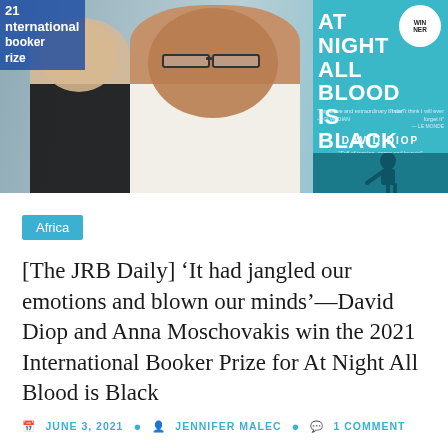[Figure (photo): Photo of a woman (left, dark top) and a man (center, glasses, white patterned shirt) in front of a light blue background, alongside the book cover of 'At Night All Blood is Black' by David Diop. The book cover is teal/blue with large white text. Top left corner shows partial text '21 International Booker Prize'.]
Africa
[The JRB Daily] ‘It had jangled our emotions and blown our minds’—David Diop and Anna Moschovakis win the 2021 International Booker Prize for At Night All Blood is Black
JUNE 3, 2021  JENNIFER MALEC  1 COMMENT